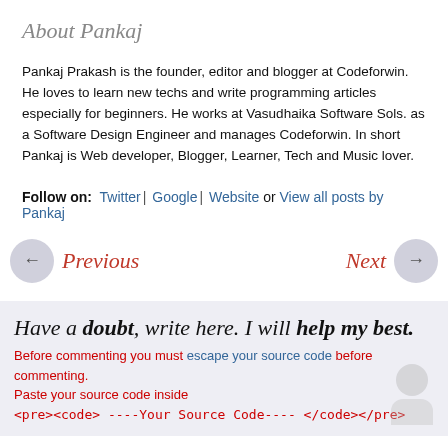About Pankaj
Pankaj Prakash is the founder, editor and blogger at Codeforwin. He loves to learn new techs and write programming articles especially for beginners. He works at Vasudhaika Software Sols. as a Software Design Engineer and manages Codeforwin. In short Pankaj is Web developer, Blogger, Learner, Tech and Music lover.
Follow on: Twitter | Google | Website or View all posts by Pankaj
← Previous    Next →
Have a doubt, write here. I will help my best.
Before commenting you must escape your source code before commenting. Paste your source code inside <pre><code> ----Your Source Code---- </code></pre>